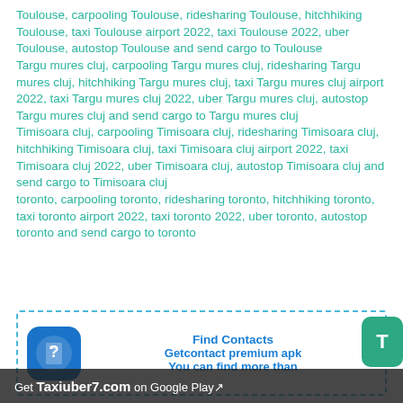Toulouse, carpooling Toulouse, ridesharing Toulouse, hitchhiking Toulouse, taxi Toulouse airport 2022, taxi Toulouse 2022, uber Toulouse, autostop Toulouse and send cargo to Toulouse
Targu mures cluj, carpooling Targu mures cluj, ridesharing Targu mures cluj, hitchhiking Targu mures cluj, taxi Targu mures cluj airport 2022, taxi Targu mures cluj 2022, uber Targu mures cluj, autostop Targu mures cluj and send cargo to Targu mures cluj
Timisoara cluj, carpooling Timisoara cluj, ridesharing Timisoara cluj, hitchhiking Timisoara cluj, taxi Timisoara cluj airport 2022, taxi Timisoara cluj 2022, uber Timisoara cluj, autostop Timisoara cluj and send cargo to Timisoara cluj
toronto, carpooling toronto, ridesharing toronto, hitchhiking toronto, taxi toronto airport 2022, taxi toronto 2022, uber toronto, autostop toronto and send cargo to toronto
[Figure (infographic): Advertisement box with dashed border containing an app icon (blue rounded square with phone/question mark icon), text 'Find Contacts / Getcontact premium apk / You can find more than...' in bold blue, and a teal T button on the right side. A dark bottom banner reads 'Get Taxiuber7.com on Google Play'.]